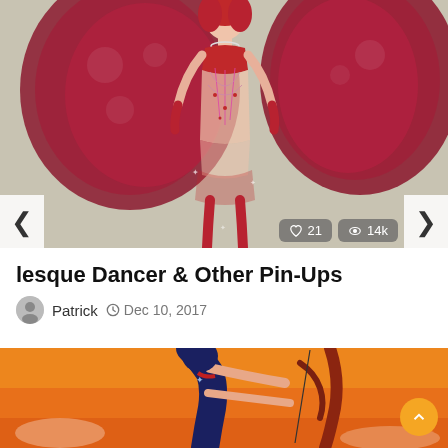[Figure (illustration): Digital illustration of a burlesque dancer in red costume with large red feathered fans against a beige/taupe background. The figure has red hair, wearing a red bejeweled corset top with sheer stockings and accessories.]
lesque Dancer & Other Pin-Ups
Patrick  Dec 10, 2017
[Figure (illustration): Digital illustration of an archer character in dark blue outfit against an orange/sunset background, holding a large red bow with an arrow drawn.]